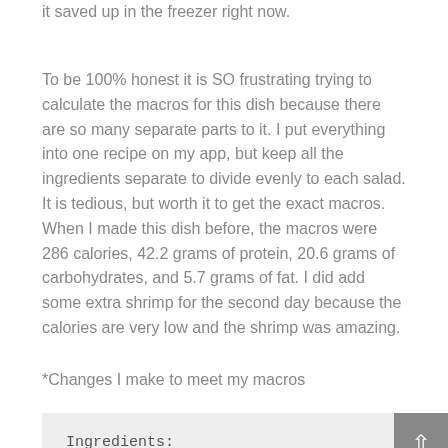it saved up in the freezer right now.
To be 100% honest it is SO frustrating trying to calculate the macros for this dish because there are so many separate parts to it. I put everything into one recipe on my app, but keep all the ingredients separate to divide evenly to each salad. It is tedious, but worth it to get the exact macros. When I made this dish before, the macros were 286 calories, 42.2 grams of protein, 20.6 grams of carbohydrates, and 5.7 grams of fat. I did add some extra shrimp for the second day because the calories are very low and the shrimp was amazing.
*Changes I make to meet my macros
Ingredients:
2 pounds shrimp, peeled and deveined
*meat of choice